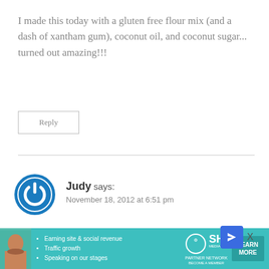I made this today with a gluten free flour mix (and a dash of xantham gum), coconut oil, and coconut sugar... turned out amazing!!!
Reply
Judy says:
November 18, 2012 at 6:51 pm
Though I am much older now, I got this recipe many years ago from my grandmother as a child. Both me and my daughter (28 years later) won blue ribbo
[Figure (infographic): SHE Partner Network advertisement banner with photo of woman, bullet points about earning site & social revenue, traffic growth, speaking on stages, SHE logo, and LEARN MORE button]